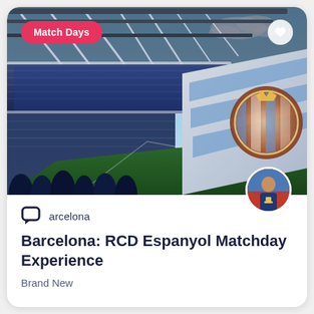[Figure (photo): Stadium photo of RCD Espanyol match day — packed stands, large team flag in foreground, roof structure visible against blue sky]
Match Days
arcelona
Barcelona: RCD Espanyol Matchday Experience
Brand New